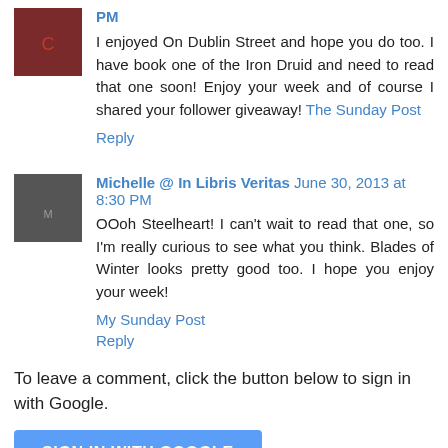PM
I enjoyed On Dublin Street and hope you do too. I have book one of the Iron Druid and need to read that one soon! Enjoy your week and of course I shared your follower giveaway! The Sunday Post
Reply
Michelle @ In Libris Veritas June 30, 2013 at 8:30 PM
OOoh Steelheart! I can't wait to read that one, so I'm really curious to see what you think. Blades of Winter looks pretty good too. I hope you enjoy your week!
My Sunday Post
Reply
To leave a comment, click the button below to sign in with Google.
SIGN IN WITH GOOGLE